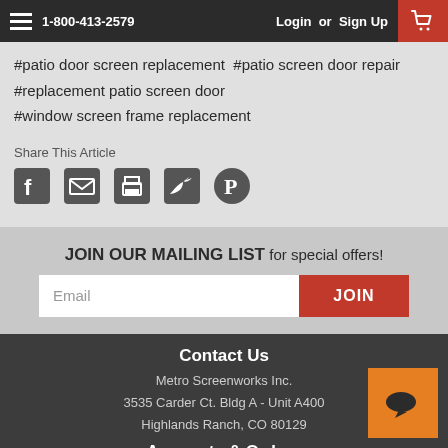1-800-413-2579   Login or Sign Up
#patio door screen replacement  #patio screen door repair
#replacement patio screen door
#window screen frame replacement
Share This Article
JOIN OUR MAILING LIST for special offers!
Email
JOIN
Contact Us
Metro Screenworks Inc.
3535 Carder Ct. Bldg A - Unit A400
Highlands Ranch, CO 80129
Accounts & Orders